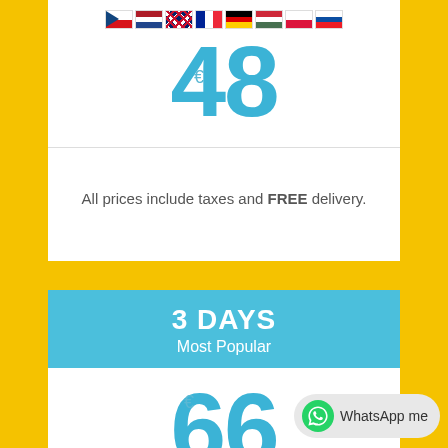[Figure (infographic): Country flags row: Czech Republic, Netherlands, UK, France, Germany, Hungary, Poland, Slovakia]
€48
All prices include taxes and FREE delivery.
3 DAYS
Most Popular
€66
[Figure (other): WhatsApp me button with WhatsApp icon]